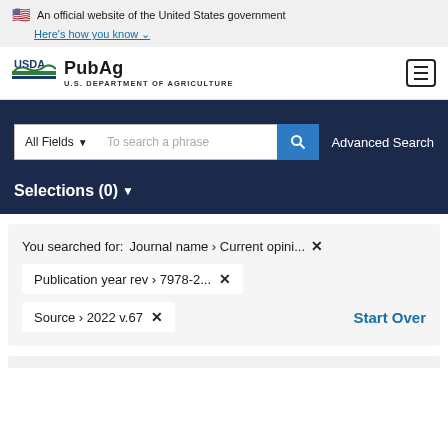An official website of the United States government Here's how you know
[Figure (logo): USDA PubAg - U.S. Department of Agriculture logo with navigation hamburger menu]
All Fields  To search a phrase  Advanced Search
Selections (0)
You searched for: Journal name > Current opini... ✕
Publication year rev > 7978-2... ✕
Source > 2022 v.67 ✕  Start Over